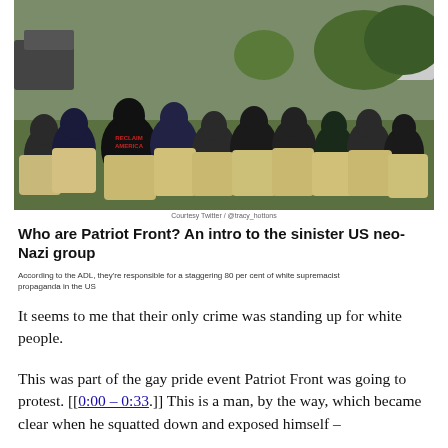[Figure (photo): Group of people kneeling on grass, wearing dark hoodies and khaki pants, seen from behind. One person has 'RECLAIM AMERICA' written on their back. The scene appears to be an outdoor gathering.]
Courtesy Twitter / @tracy_hottons
Who are Patriot Front? An intro to the sinister US neo-Nazi group
According to the ADL, they're responsible for a staggering 80 per cent of white supremacist propaganda in the US
It seems to me that their only crime was standing up for white people.
This was part of the gay pride event Patriot Front was going to protest. [[0:00 – 0:33.]] This is a man, by the way, which became clear when he squatted down and exposed himself –